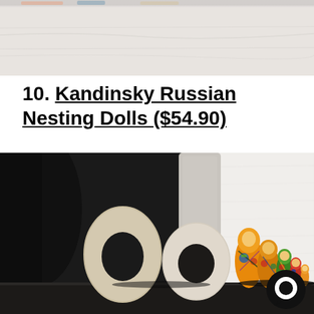[Figure (photo): Partial top image, appears to be a shelf or countertop scene, cropped at top of page]
10. Kandinsky Russian Nesting Dolls ($54.90)
[Figure (photo): Photo of colorful Russian nesting dolls (matryoshka) painted in Kandinsky abstract art style, arranged by size on a dark shelf next to decorative ceramic vases (one ring-shaped, one donut-shaped). A white textured surface is in the background. A circular chat/messenger icon watermark appears in the bottom right.]